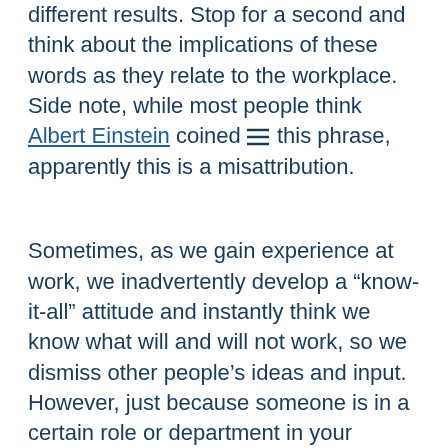different results. Stop for a second and think about the implications of these words as they relate to the workplace. Side note, while most people think Albert Einstein coined this phrase, apparently this is a misattribution.
Sometimes, as we gain experience at work, we inadvertently develop a “know-it-all” attitude and instantly think we know what will and will not work, so we dismiss other people’s ideas and input. However, just because someone is in a certain role or department in your organization doesn’t mean that is what they’ve always done. After all, research has found that the average person will